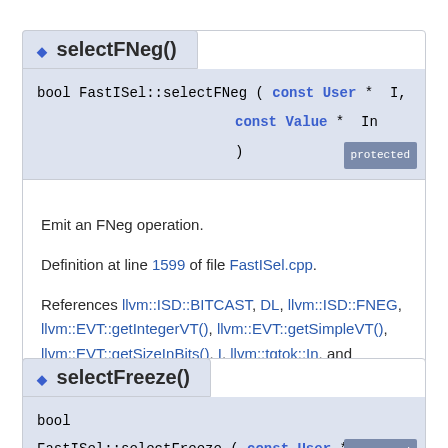◆ selectFNeg()
bool FastISel::selectFNeg ( const User *  I,
                            const Value *  In
                          )
Emit an FNeg operation.

Definition at line 1599 of file FastISel.cpp.

References llvm::ISD::BITCAST, DL, llvm::ISD::FNEG, llvm::EVT::getIntegerVT(), llvm::EVT::getSimpleVT(), llvm::EVT::getSizeInBits(), I, llvm::tgtok::In, and llvm::ISD::XOR.
◆ selectFreeze()
bool FastISel::selectFreeze ( const User *  I )